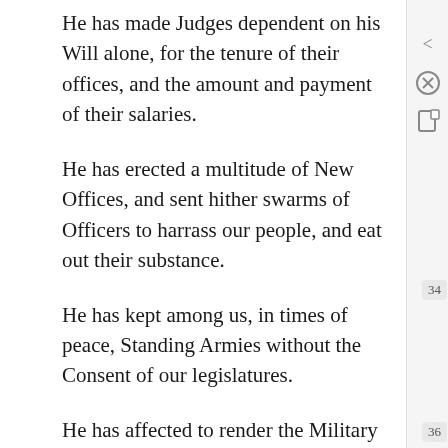He has made Judges dependent on his Will alone, for the tenure of their offices, and the amount and payment of their salaries.
He has erected a multitude of New Offices, and sent hither swarms of Officers to harrass our people, and eat out their substance.
He has kept among us, in times of peace, Standing Armies without the Consent of our legislatures.
He has affected to render the Military independent of and superior to the Civil power.
He has combined with others to subject us to a